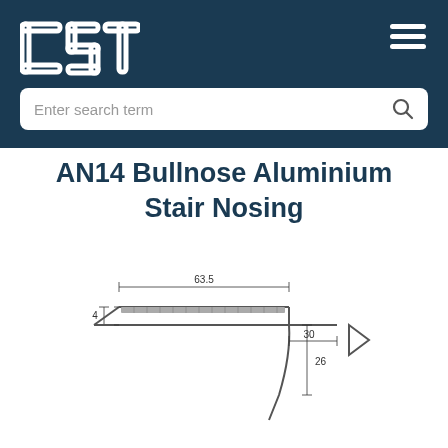[Figure (screenshot): Dark navy header bar with CST logo on the left, hamburger menu icon on the right, and a search bar below reading 'Enter search term']
AN14 Bullnose Aluminium Stair Nosing
[Figure (engineering-diagram): Technical cross-section diagram of a bullnose aluminium stair nosing profile. Dimensions shown: width 63.5, height 4 on left, 26 vertical drop, 30 horizontal on right. An arrow points right indicating the profile direction.]